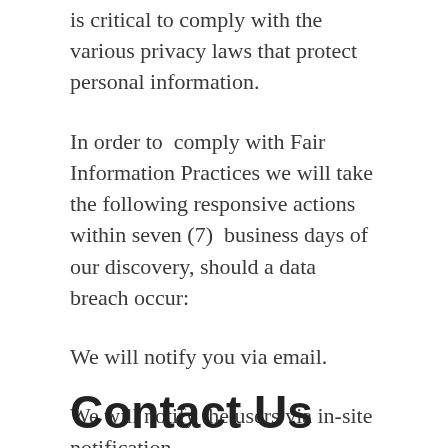is critical to comply with the various privacy laws that protect personal information.
In order to comply with Fair Information Practices we will take the following responsive actions within seven (7) business days of our discovery, should a data breach occur:
We will notify you via email.
We will notify the users via in-site notification.
Contact Us